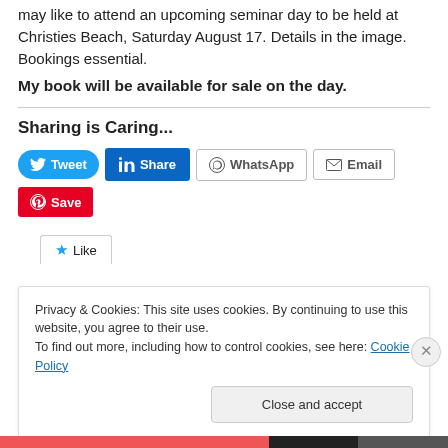may like to attend an upcoming seminar day to be held at Christies Beach, Saturday August 17. Details in the image. Bookings essential.
My book will be available for sale on the day.
Sharing is Caring...
[Figure (screenshot): Social share buttons: Tweet (Twitter), Share (LinkedIn), WhatsApp, Email, Save (Pinterest)]
Like
Privacy & Cookies: This site uses cookies. By continuing to use this website, you agree to their use. To find out more, including how to control cookies, see here: Cookie Policy
Close and accept